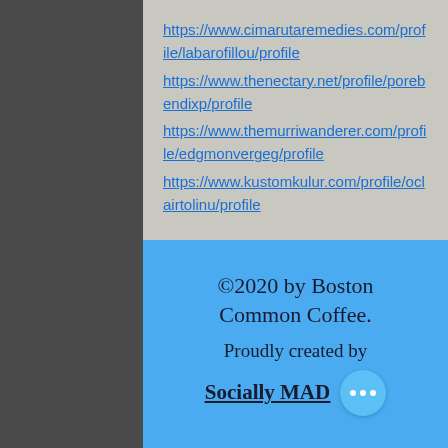https://www.cimarutaremedies.com/profile/labarofillou/profile https://www.thenectary.net/profile/porebendixp/profile https://www.themurriwanderer.com/profile/edgmonvergeg/profile https://www.kustomkulur.com/profile/oclairtolinu/profile
©2020 by Boston Common Coffee. Proudly created by Socially MAD